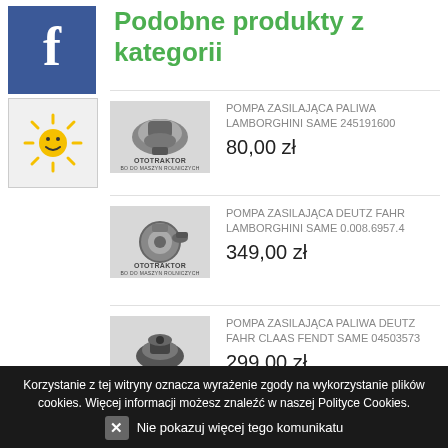Podobne produkty z kategorii
[Figure (logo): Facebook icon - blue square with white F]
[Figure (logo): Sun/smiley icon - yellow sun on light background]
POMPA ZASILAJĄCA PALIWA LAMBORGHINI SAME 245191600 — 80,00 zł
POMPA ZASILAJĄCA DEUTZ FAHR LAMBORGHINI SAME 0.008.6957.4 — 349,00 zł
POMPA ZASILAJĄCA PALIWA DEUTZ FAHR CLAAS FENDT SAME 04503573 — 299,00 zł
Korzystanie z tej witryny oznacza wyrażenie zgody na wykorzystanie plików cookies. Więcej informacji możesz znaleźć w naszej Polityce Cookies. ✕ Nie pokazuj więcej tego komunikatu